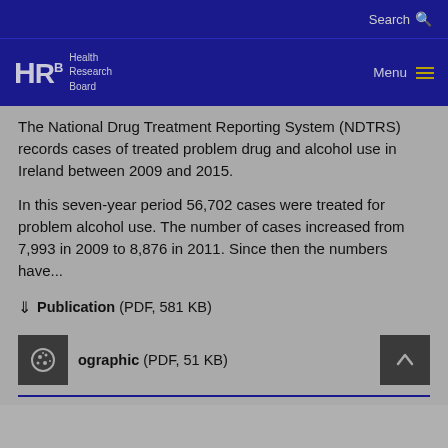Search
[Figure (logo): HRB Health Research Board logo with navigation menu]
The National Drug Treatment Reporting System (NDTRS) records cases of treated problem drug and alcohol use in Ireland between 2009 and 2015.
In this seven-year period 56,702 cases were treated for problem alcohol use. The number of cases increased from 7,993 in 2009 to 8,876 in 2011. Since then the numbers have...
Publication (PDF, 581 KB)
ographic (PDF, 51 KB)